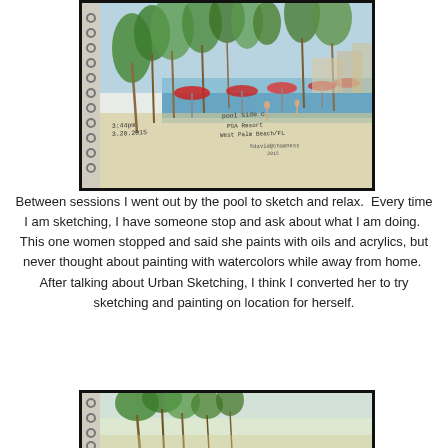[Figure (illustration): A watercolor sketchbook illustration of a pool scene at PGA Resort, West Palm Beach, FL. Shows palm trees, pools, red umbrellas, and beach chairs. Annotated with '3:44pm 3.20.2015', 'pool side c PGA Resort West Palm Beach/FL', '@david@chamness 2015'. The sketch is in a spiral-bound notebook.]
Between sessions I went out by the pool to sketch and relax.  Every time I am sketching, I have someone stop and ask about what I am doing.  This one women stopped and said she paints with oils and acrylics, but never thought about painting with watercolors while away from home.  After talking about Urban Sketching, I think I converted her to try sketching and painting on location for herself.
[Figure (illustration): Bottom portion of another watercolor sketchbook illustration showing palm trees in green tones, partially cropped. Spiral binding visible on the left side.]